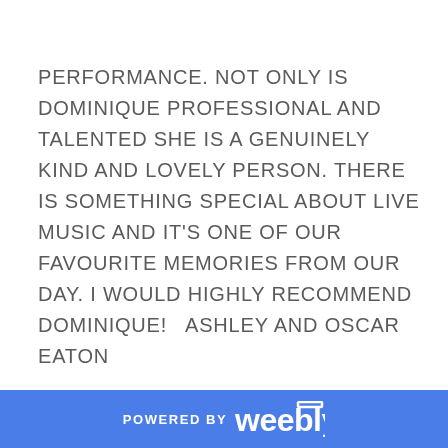PERFORMANCE. NOT ONLY IS DOMINIQUE PROFESSIONAL AND TALENTED SHE IS A GENUINELY KIND AND LOVELY PERSON. THERE IS SOMETHING SPECIAL ABOUT LIVE MUSIC AND IT'S ONE OF OUR FAVOURITE MEMORIES FROM OUR DAY. I WOULD HIGHLY RECOMMEND DOMINIQUE! ASHLEY AND OSCAR EATON
POWERED BY weebly